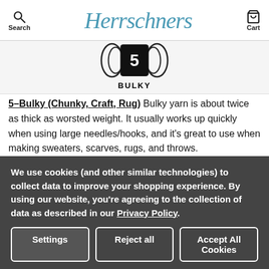Search | Herrschners | Cart
[Figure (illustration): Yarn weight 5 - Bulky symbol: skein icon with concentric wave lines and number 5 on dark background, labeled BULKY]
5–Bulky (Chunky, Craft, Rug) Bulky yarn is about twice as thick as worsted weight. It usually works up quickly when using large needles/hooks, and it's great to use when making sweaters, scarves, rugs, and throws.
[Figure (illustration): Yarn weight 6 symbol: skein icon with concentric wave lines and number 6 on dark background]
We use cookies (and other similar technologies) to collect data to improve your shopping experience. By using our website, you're agreeing to the collection of data as described in our Privacy Policy.
Settings | Reject all | Accept All Cookies